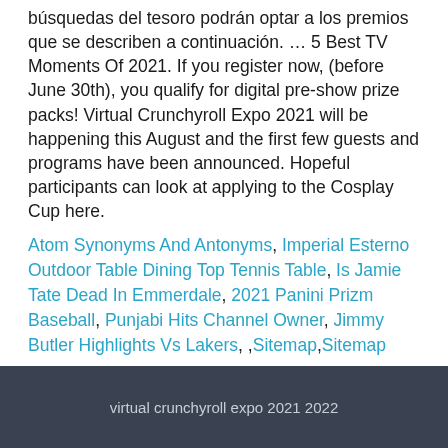búsquedas del tesoro podrán optar a los premios que se describen a continuación. … 5 Best TV Moments Of 2021. If you register now, (before June 30th), you qualify for digital pre-show prize packs! Virtual Crunchyroll Expo 2021 will be happening this August and the first few guests and programs have been announced. Hopeful participants can look at applying to the Cosplay Cup here.
Atom Synonyms And Antonyms, Imperial Esterno Outdoor Table Dining Top Tennis Table, Is Jamie Tate Dead In Emmerdale, 2021 Panini Prizm Baseball, Punjabi Hits Channel Owner, Jimmy Butler Highlights Vs Lakers, ,Sitemap,Sitemap
virtual crunchyroll expo 2021 2022